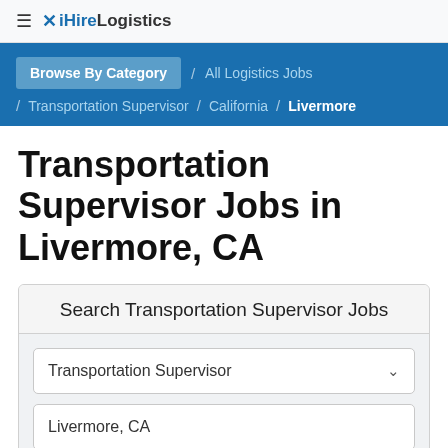≡ iHireLogistics
Browse By Category / All Logistics Jobs / Transportation Supervisor / California / Livermore
Transportation Supervisor Jobs in Livermore, CA
Search Transportation Supervisor Jobs
Transportation Supervisor
Livermore, CA